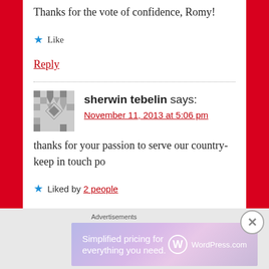Thanks for the vote of confidence, Romy!
★ Like
Reply
sherwin tebelin says:
November 11, 2013 at 5:06 pm
thanks for your passion to serve our country- keep in touch po
★ Liked by 2 people
Advertisements
[Figure (screenshot): WordPress.com advertisement banner: 'Simplified pricing for everything you need.' with WordPress.com logo]